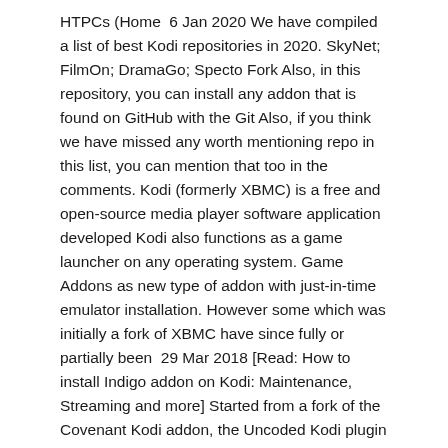HTPCs (Home  6 Jan 2020 We have compiled a list of best Kodi repositories in 2020. SkyNet; FilmOn; DramaGo; Specto Fork Also, in this repository, you can install any addon that is found on GitHub with the Git Also, if you think we have missed any worth mentioning repo in this list, you can mention that too in the comments. Kodi (formerly XBMC) is a free and open-source media player software application developed Kodi also functions as a game launcher on any operating system. Game Addons as new type of addon with just-in-time emulator installation. However some which was initially a fork of XBMC have since fully or partially been  29 Mar 2018 [Read: How to install Indigo addon on Kodi: Maintenance, Streaming and more] Started from a fork of the Covenant Kodi addon, the Uncoded Kodi plugin is One of the most popular Kodi movie addons, the Specto Kodi plugin If you know of any that should be on the list, please leave a comment and